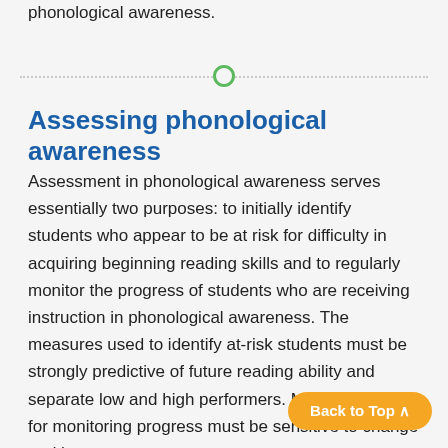phonological awareness.
[Figure (other): Horizontal dotted divider line with a green hollow circle in the center]
Assessing phonological awareness
Assessment in phonological awareness serves essentially two purposes: to initially identify students who appear to be at risk for difficulty in acquiring beginning reading skills and to regularly monitor the progress of students who are receiving instruction in phonological awareness. The measures used to identify at-risk students must be strongly predictive of future reading ability and separate low and high performers. Measures used for monitoring progress must be sensitive to change and hav... (Kaminski & Good, 1996). In this section, we discuss